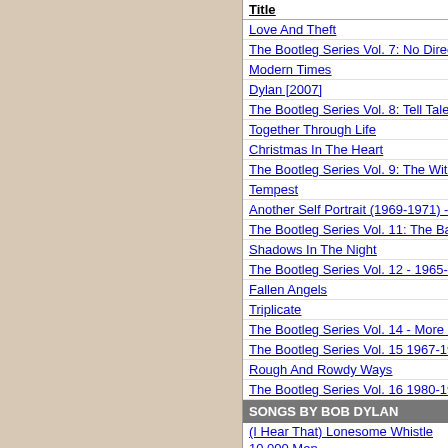| Title |
| --- |
| Love And Theft |
| The Bootleg Series Vol. 7: No Direction Home (So... |
| Modern Times |
| Dylan [2007] |
| The Bootleg Series Vol. 8: Tell Tale Signs - Rare A... |
| Together Through Life |
| Christmas In The Heart |
| The Bootleg Series Vol. 9: The Witmark Demos -... |
| Tempest |
| Another Self Portrait (1969-1971) - The Bootleg S... |
| The Bootleg Series Vol. 11: The Basement Tapes... |
| Shadows In The Night |
| The Bootleg Series Vol. 12 - 1965-1966: The Best... |
| Fallen Angels |
| Triplicate |
| The Bootleg Series Vol. 14 - More Blood, More Tr... |
| The Bootleg Series Vol. 15 1967-1969 - Travelin'... |
| Rough And Rowdy Ways |
| The Bootleg Series Vol. 16 1980-1985 - Springtim... |
SONGS BY BOB DYLAN
(I Hear That) Lonesome Whistle
10,000 Men
2 X 2
32-20 Blues
A Fool Such As I